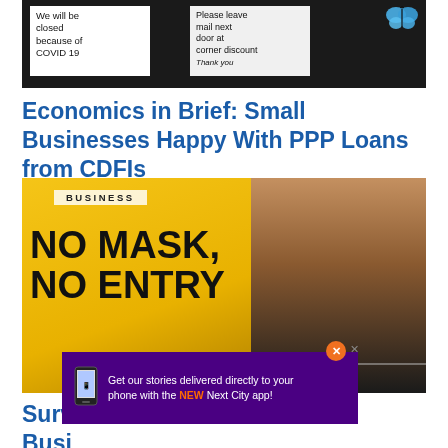[Figure (photo): Photo of store window with two handwritten signs. Left sign reads 'We will be closed because of COVID 19'. Right sign reads 'Please leave mail next door at corner discount Thank you'. A blue butterfly sticker is visible in the top right corner.]
Economics in Brief: Small Businesses Happy With PPP Loans from CDFIs
[Figure (photo): Photo of a business interior with a bright yellow 'NO MASK, NO ENTRY' sign in the foreground. A 'BUSINESS' sign is visible in the background. A worker in a red shirt stands behind a counter.]
Get our stories delivered directly to your phone with the NEW Next City app!
Surv... Busi...